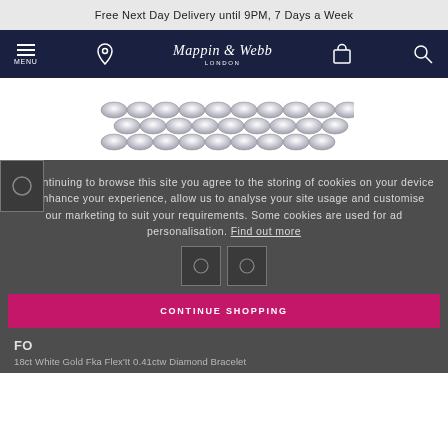Free Next Day Delivery until 9PM, 7 Days a Week
[Figure (logo): Mappin & Webb London logo on dark navy navigation bar with hamburger menu, location pin, shopping bag and search icons]
[Figure (photo): Silver chain bracelet product photo on white background]
By continuing to browse this site you agree to the storing of cookies on your device to enhance your experience, allow us to analyse your site usage and customise our marketing to suit your requirements. Some cookies are used for ad personalisation. Find out more
[Figure (photo): Small product thumbnails in cookie consent overlay]
CONTINUE SHOPPING
FO
18ct White Gold Fka Flex'It 0.41ctw Diamond Bracelet